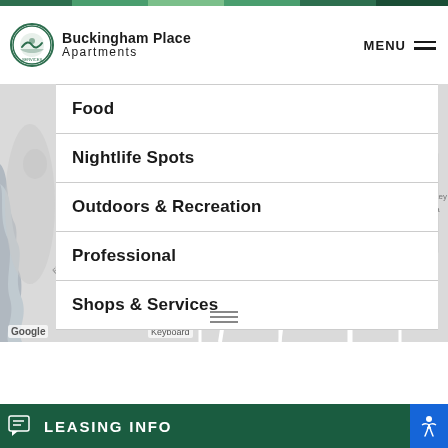Buckingham Place Apartments
Food
Nightlife Spots
Outdoors & Recreation
Professional
Shops & Services
[Figure (map): Google Map showing GHENT neighborhood with streets including W 26th St, W 27th St, Colley Ave, Colonial Ave, Church St, E 26th St, and Elizabeth River label]
LEASING INFO